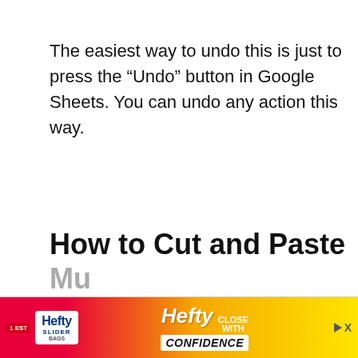The easiest way to undo this is just to press the “Undo” button in Google Sheets. You can undo any action this way.
How to Cut and Paste Multiple...
[Figure (other): Advertisement banner for Hefty Slider Bags with yellow/orange/red gradient background, showing Hefty logo, slider bag product image, and text 'CLOSE WITH CONFIDENCE'. Includes a close button (play icon and X).]